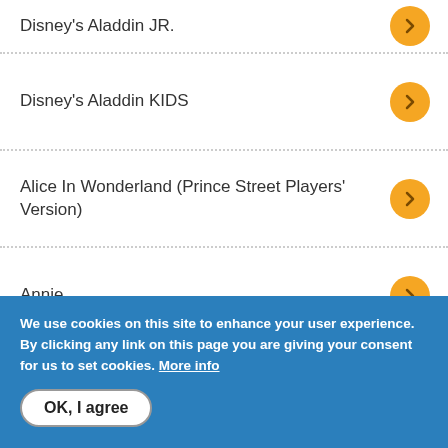Disney's Aladdin JR.
Disney's Aladdin KIDS
Alice In Wonderland (Prince Street Players' Version)
Annie
We use cookies on this site to enhance your user experience. By clicking any link on this page you are giving your consent for us to set cookies. More info
OK, I agree